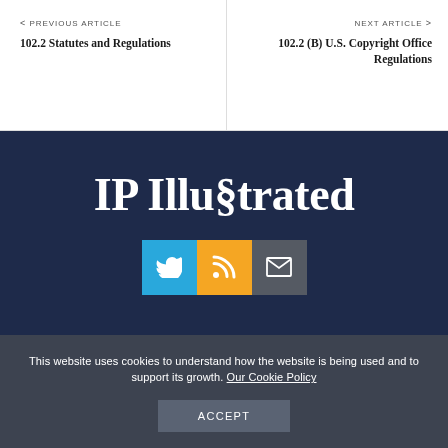< PREVIOUS ARTICLE
102.2 Statutes and Regulations
NEXT ARTICLE >
102.2 (B) U.S. Copyright Office Regulations
IP Illustrated
[Figure (infographic): Three social media icon buttons: Twitter (blue), RSS (orange/gold), Email (dark gray)]
This website uses cookies to understand how the website is being used and to support its growth. Our Cookie Policy
Accept